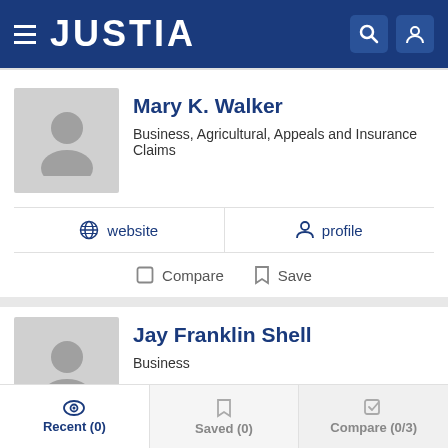JUSTIA
Mary K. Walker
Business, Agricultural, Appeals and Insurance Claims
website   profile
Compare   Save
Jay Franklin Shell
Business
profile
Recent (0)   Saved (0)   Compare (0/3)